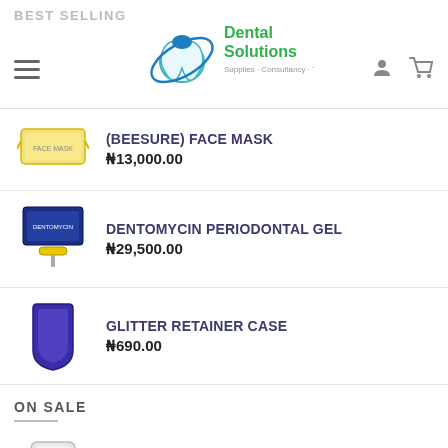Dental Solutions - Supplies Consultancy Training
BEST SELLING
(BEESURE) FACE MASK ₦13,000.00
DENTOMYCIN PERIODONTAL GEL ₦29,500.00
GLITTER RETAINER CASE ₦690.00
ON SALE
ALGINATE - PLASTALGIN - REGULAR ₦14,990.00 ₦3,000.00